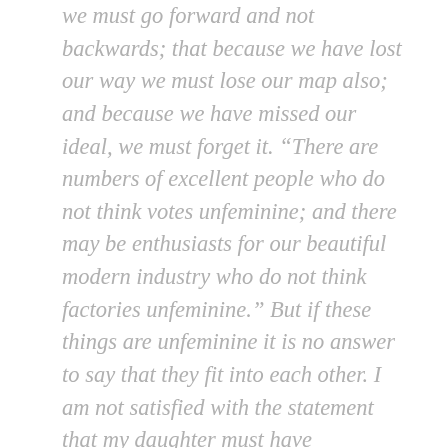we must go forward and not backwards; that because we have lost our way we must lose our map also; and because we have missed our ideal, we must forget it. “There are numbers of excellent people who do not think votes unfeminine; and there may be enthusiasts for our beautiful modern industry who do not think factories unfeminine.” But if these things are unfeminine it is no answer to say that they fit into each other. I am not satisfied with the statement that my daughter must have unwomanly powers because she has unwomanly wrongs. Industrial soot and politicalinist… it is not so black as which